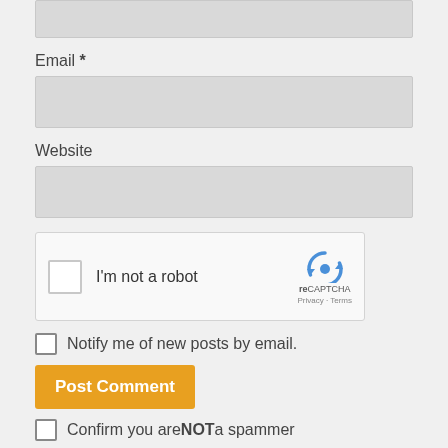Email *
Website
[Figure (screenshot): reCAPTCHA widget with checkbox labeled I'm not a robot and reCAPTCHA logo with Privacy and Terms links]
Notify me of new posts by email.
Post Comment
Confirm you are NOT a spammer
This site uses Akismet to reduce spam. Learn how your